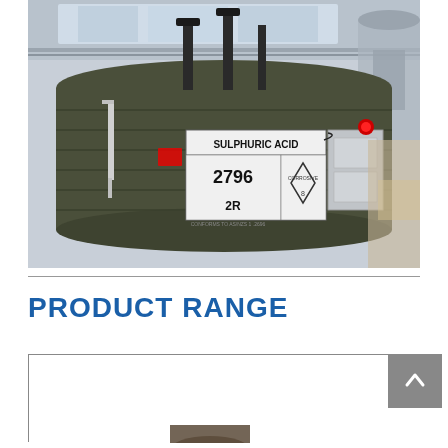[Figure (photo): Industrial sulphuric acid storage tank (dark olive/green color) with hazardous materials label showing 'SULPHURIC ACID', UN number 2796, class 2R, and a corrosive diamond symbol. The tank is inside an industrial facility with metal framework and pipes visible overhead. A grey electrical control panel with a red alarm light is visible to the right of the tank.]
PRODUCT RANGE
[Figure (photo): Partial view of a product (bottom portion cut off), shown inside a white bordered box in the product range section.]